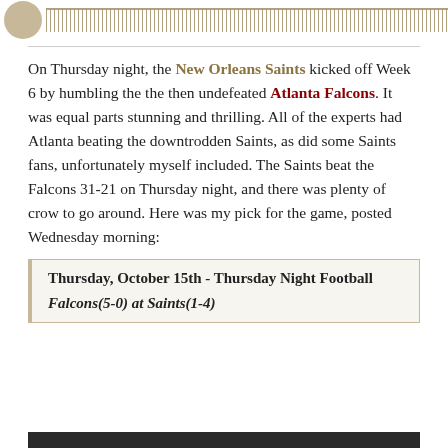[Figure (other): Circular coin/logo icon with a ruler/measurement bar extending to the right]
On Thursday night, the New Orleans Saints kicked off Week 6 by humbling the the then undefeated Atlanta Falcons. It was equal parts stunning and thrilling. All of the experts had Atlanta beating the downtrodden Saints, as did some Saints fans, unfortunately myself included. The Saints beat the Falcons 31-21 on Thursday night, and there was plenty of crow to go around. Here was my pick for the game, posted Wednesday morning:
Thursday, October 15th - Thursday Night Football
Falcons(5-0) at Saints(1-4)
[Figure (photo): Partial image at bottom of page]